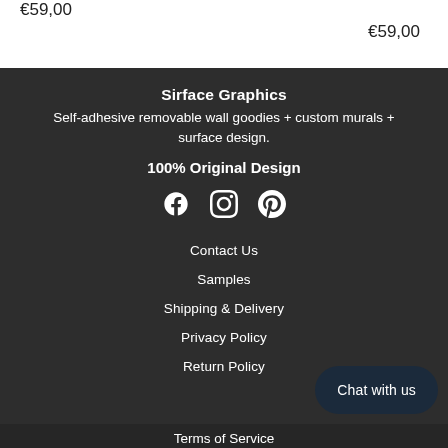€59,00
€59,00
Sirface Graphics
Self-adhesive removable wall goodies + custom murals + surface design.
100% Original Design
[Figure (infographic): Three social media icons: Facebook, Instagram, Pinterest]
Contact Us
Samples
Shipping & Delivery
Privacy Policy
Return Policy
Chat with us
Terms of Service